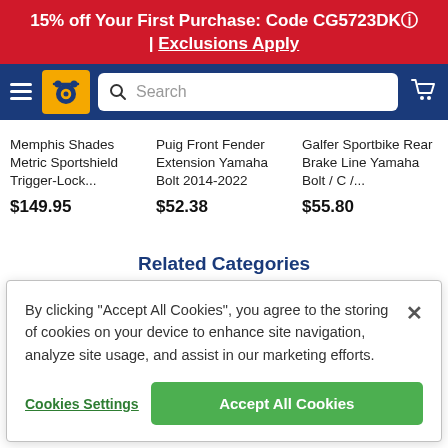15% off Your First Purchase: Code CG5723DK | Exclusions Apply
[Figure (screenshot): Navigation bar with hamburger menu, Discount Drive logo (yellow), search bar, and cart icon on dark blue background]
Memphis Shades Metric Sportshield Trigger-Lock... $149.95
Puig Front Fender Extension Yamaha Bolt 2014-2022 $52.38
Galfer Sportbike Rear Brake Line Yamaha Bolt / C /... $55.80
Related Categories
By clicking "Accept All Cookies", you agree to the storing of cookies on your device to enhance site navigation, analyze site usage, and assist in our marketing efforts.